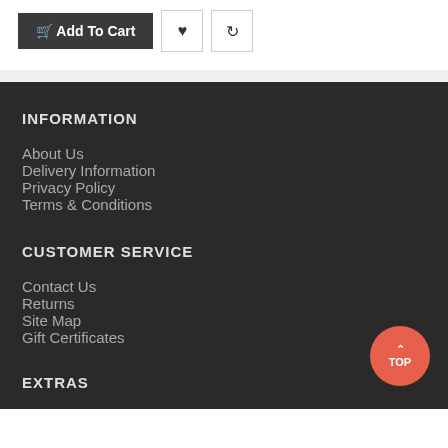[Figure (screenshot): Add To Cart button with heart and refresh icon buttons on white background]
INFORMATION
About Us
Delivery Information
Privacy Policy
Terms & Conditions
CUSTOMER SERVICE
Contact Us
Returns
Site Map
Gift Certificates
EXTRAS